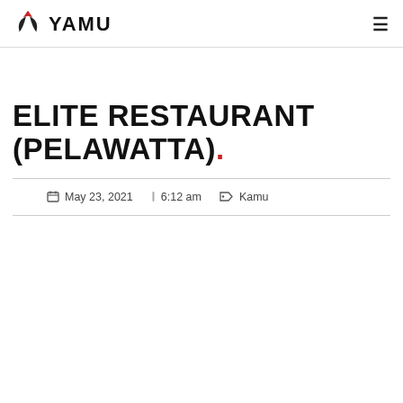YAMU
ELITE RESTAURANT (PELAWATTA).
May 23, 2021  6:12 am  Kamu